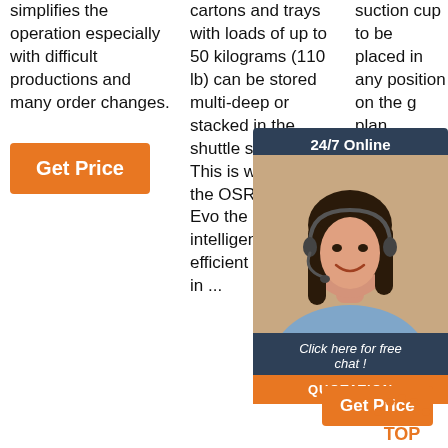simplifies the operation especially with difficult productions and many order changes.
Get Price
cartons and trays with loads of up to 50 kilograms (110 lb) can be stored multi-deep or stacked in the shuttle system. This is what makes the OSR Shuttle™ Evo the heart of intelligent and efficient processes in ...
suction cup to be placed in any position on the g... plan... auto... prov... quali... takin... care...
[Figure (photo): Customer service representative with headset, 24/7 online chat widget overlay with dark blue background, showing 'Click here for free chat!' and 'QUOTATION' button]
Get Price
TOP